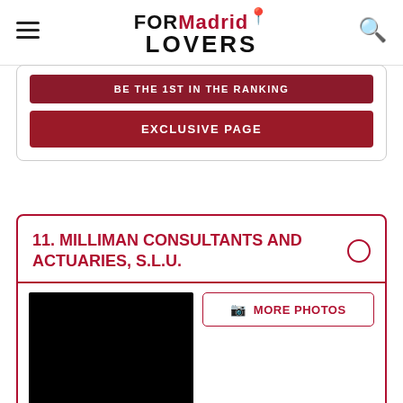FORMadridLOVERS
BE THE 1ST IN THE RANKING
EXCLUSIVE PAGE
11. MILLIMAN CONSULTANTS AND ACTUARIES, S.L.U.
[Figure (photo): Black placeholder image for Milliman Consultants and Actuaries listing]
MORE PHOTOS